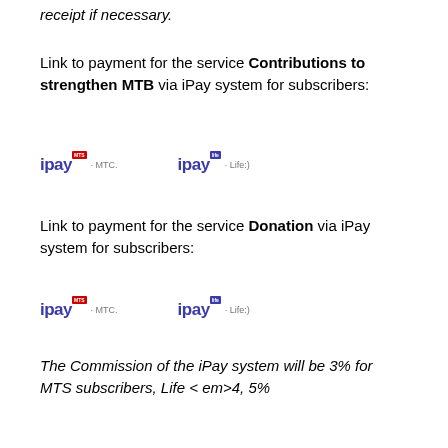receipt if necessary.
Link to payment for the service Contributions to strengthen MTB via iPay system for subscribers:
[Figure (logo): Two iPay logos side by side: iPay MTS and iPay Life for the Contributions to strengthen MTB service]
Link to payment for the service Donation via iPay system for subscribers:
[Figure (logo): Two iPay logos side by side: iPay MTS and iPay Life for the Donation service]
The Commission of the iPay system will be 3% for MTS subscribers, Life < em>4, 5%
** exceptions are phone numbers connected to the corporate tariff, the tariff plan " Free life:)" and the subscriber s, using e payment for cellular services in fact. Not the entire amount of the personal account balance is available for transactions in the